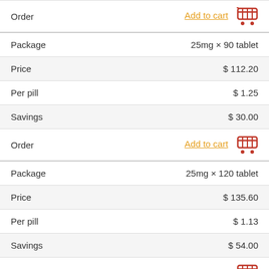| Field | Value |
| --- | --- |
| Order | Add to cart [cart icon] |
| Package | 25mg × 90 tablet |
| Price | $ 112.20 |
| Per pill | $ 1.25 |
| Savings | $ 30.00 |
| Order | Add to cart [cart icon] |
| Package | 25mg × 120 tablet |
| Price | $ 135.60 |
| Per pill | $ 1.13 |
| Savings | $ 54.00 |
| Order | Add to cart [cart icon] |
| Package | 25mg × 180 tablet |